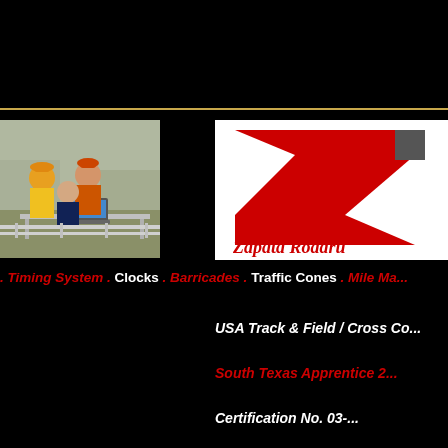[Figure (photo): Three people standing behind a table with a laptop outdoors at a race timing setup. One person in yellow shirt with cap, one in orange hoodie, one in navy jacket.]
[Figure (logo): Zapata Roadrunners logo — large red stylized Z with italic script text 'Zapata Roadru...' in red on white background]
. Timing System . Clocks . Barricades . Traffic Cones . Mile Ma...
USA Track & Field / Cross Co...
South Texas Apprentice 2...
Certification No. 03-...